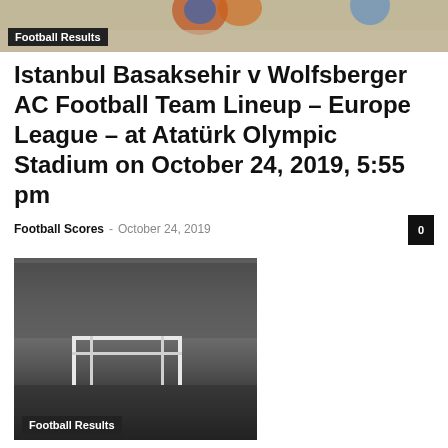[Figure (photo): Top banner image of footballs on sand/beach, partially cropped, with a 'Football Results' label overlay]
Istanbul Basaksehir v Wolfsberger AC Football Team Lineup – Europe League – at Atatürk Olympic Stadium on October 24, 2019, 5:55 pm
Football Scores - October 24, 2019
[Figure (photo): Black and white photograph of a football goal post on a grass field with trees in the background, with a 'Football Results' label overlay]